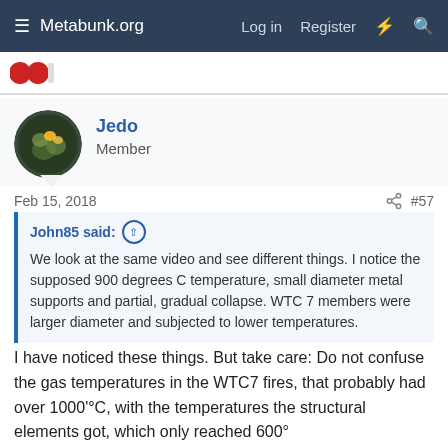Metabunk.org  Log in  Register
Jedo
Member
Feb 15, 2018  #57
John85 said: We look at the same video and see different things. I notice the supposed 900 degrees C temperature, small diameter metal supports and partial, gradual collapse. WTC 7 members were larger diameter and subjected to lower temperatures.
I have noticed these things. But take care: Do not confuse the gas temperatures in the WTC7 fires, that probably had over 1000'°C, with the temperatures the structural elements got, which only reached 600°